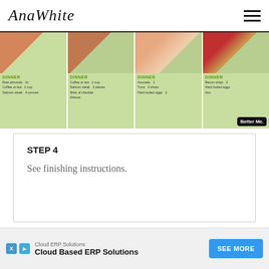AnaWhite
[Figure (photo): Four dinner meal cards with food images, each showing DINNER label and food items listed below]
STEP 4
See finishing instructions.
Finishing Instructions
Preparation Instructions: Fill exposed screw holes with wood filler and let dry. Sand the entire daybed with...
[Figure (other): Cloud Based ERP Solutions advertisement banner with SEE MORE button]